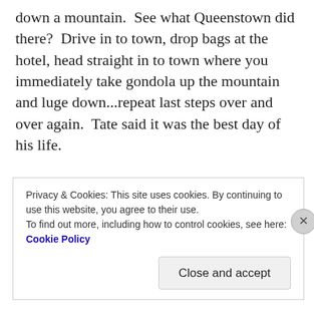down a mountain.  See what Queenstown did there?  Drive in to town, drop bags at the hotel, head straight in to town where you immediately take gondola up the mountain and luge down...repeat last steps over and over again.  Tate said it was the best day of his life.
The next day we left Queenstown to see Milford Sound.  Rudyard Kipling described it as the eight wonder of the world.  Granted that was a while ago...1891 to be exact but I thought this fact would give my blog a more academic flavour.  The drive to Milford
Privacy & Cookies: This site uses cookies. By continuing to use this website, you agree to their use.
To find out more, including how to control cookies, see here: Cookie Policy